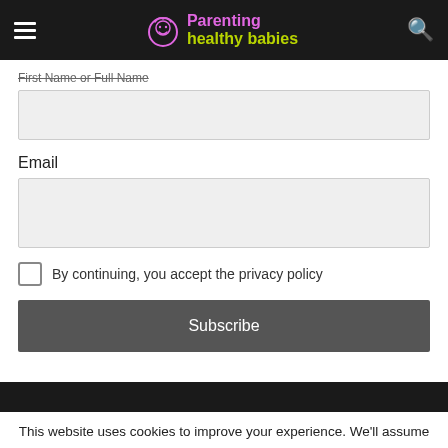Parenting healthy babies
First Name or Full Name
Email
By continuing, you accept the privacy policy
Subscribe
This website uses cookies to improve your experience. We'll assume you're ok with this, but you can opt-out if you wish.
Cookie settings
ACCEPT